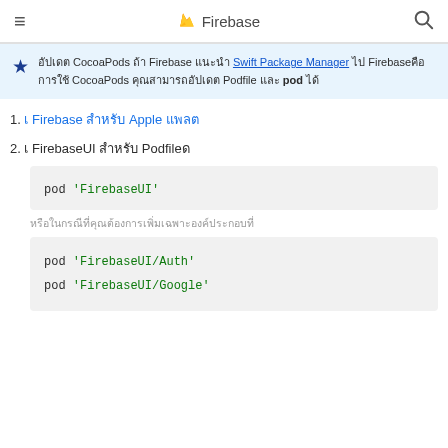Firebase
อัปเดต CocoaPods ถ้า Firebase แนะนำ Swift Package Manager ไป Firebaseคือการใช้ CocoaPods คุณสามารถอัปเดต Podfile และ pod ได้
1. เ Firebase สำหรับ Apple แพลต
2. เ FirebaseUI สำหรับ Podfileด
pod 'FirebaseUI'
หรือในกรณีที่คุณต้องการเพิ่มเฉพาะองค์ประกอบที่
pod 'FirebaseUI/Auth'
pod 'FirebaseUI/Google'